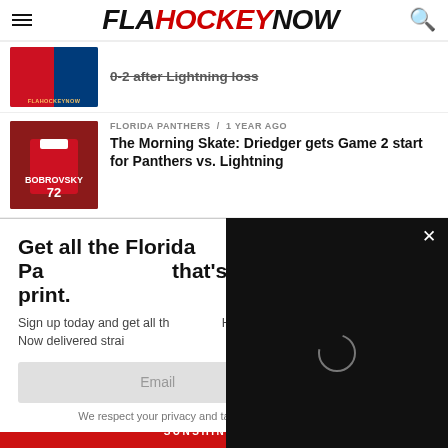FLA HOCKEY NOW
[Figure (screenshot): Truncated article thumbnail showing hockey team logos (Panthers/Lightning) with partial title visible]
0-2 after Lightning loss (truncated/struck-through)
FLORIDA PANTHERS / 1 year ago
The Morning Skate: Driedger gets Game 2 start for Panthers vs. Lightning
[Figure (photo): Florida Panthers hockey player wearing #72 Bobrovsky jersey]
Get all the Florida Pa... that's fit to print.
Sign up today and get all th... Hockey Now delivered strai...
[Figure (screenshot): Black video player overlay with loading spinner and close button (X)]
Email
SIGN UP!
We respect your privacy and take protecting it seriously
[Figure (photo): Bottom red Sunshine State banner with 'No thanks, I don't want' struck-through text]
No thanks, I don't want (struck through)
SUNSHINE STATE